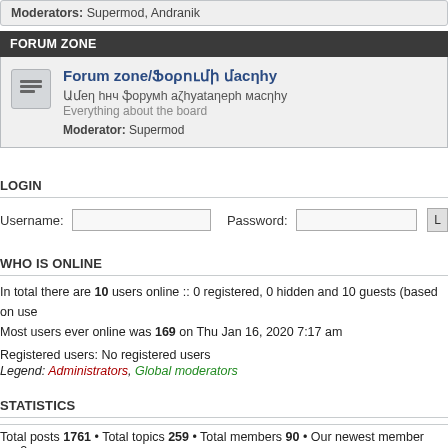Moderators: Supermod, Andranik
FORUM ZONE
Forum zone/Ֆորումի մասին
Ամեն ինչ ֆորումի աշխատանքի մասին
Everything about the board
Moderator: Supermod
LOGIN
Username:  Password:
WHO IS ONLINE
In total there are 10 users online :: 0 registered, 0 hidden and 10 guests (based on use
Most users ever online was 169 on Thu Jan 16, 2020 7:17 am
Registered users: No registered users
Legend: Administrators, Global moderators
STATISTICS
Total posts 1761 • Total topics 259 • Total members 90 • Our newest member gev2gev
Board index
Powered by phpBB © 2